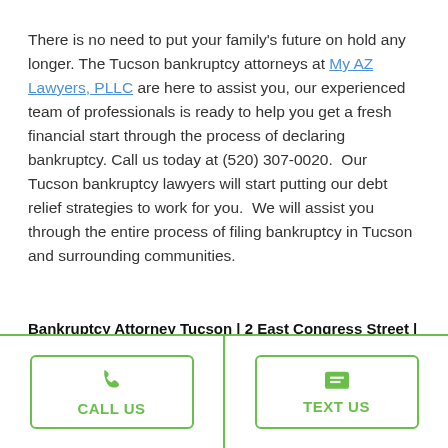There is no need to put your family's future on hold any longer. The Tucson bankruptcy attorneys at My AZ Lawyers, PLLC are here to assist you, our experienced team of professionals is ready to help you get a fresh financial start through the process of declaring bankruptcy. Call us today at (520) 307-0020. Our Tucson bankruptcy lawyers will start putting our debt relief strategies to work for you. We will assist you through the entire process of filing bankruptcy in Tucson and surrounding communities.
Bankruptcy Attorney Tucson | 2 East Congress Street | Tucson, AZ 85701
CALL US
TEXT US